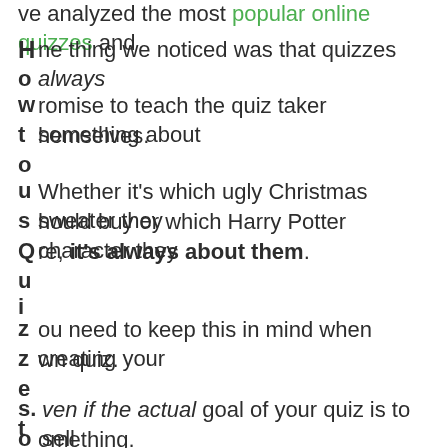ve analyzed the most popular online quizzes and
One thing we noticed was that quizzes always promise to teach the quiz taker something about themselves.
Whether it's which ugly Christmas sweater they should buy or which Harry Potter character they are, it's always about them.
You need to keep this in mind when creating your own quiz.
Even if the actual goal of your quiz is to sell something.
How can you make sure the quiz will teach the quiz